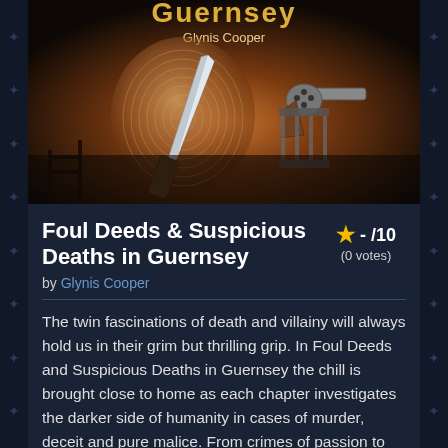[Figure (illustration): Book cover for 'Foul Deeds & Suspicious Deaths in Guernsey' by Glynis Cooper. Shows a knife blade with a fingerprint on it, a revolver, prison bars, and a dark atmospheric background with scaffolding silhouettes.]
Foul Deeds & Suspicious Deaths in Guernsey
★ - /10
(0 votes)
by Glynis Cooper
The twin fascinations of death and villainy will always hold us in their grim but thrilling grip. In Foul Deeds and Suspicious Deaths in Guernsey the chill is brought close to home as each chapter investigates the darker side of humanity in cases of murder, deceit and pure malice. From crimes of passion to opportunistic killings and coldly premeditated acts of